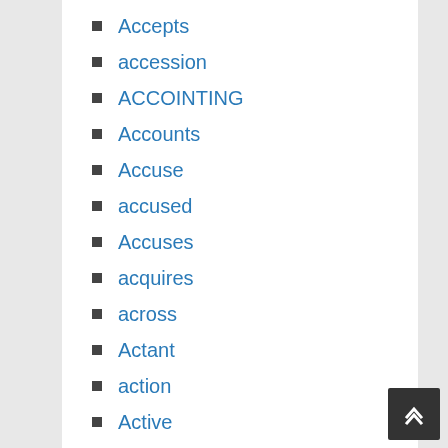Accepts
accession
ACCOINTING
Accounts
Accuse
accused
Accuses
acquires
across
Actant
action
Active
Added
additional
Addresses